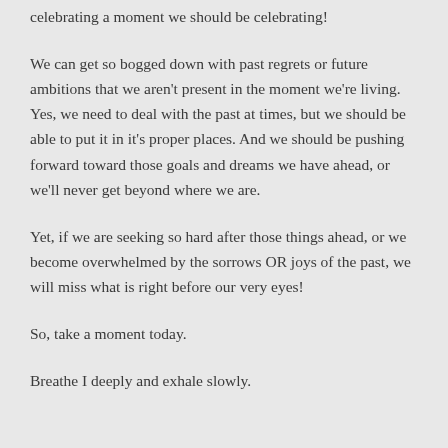celebrating a moment we should be celebrating!
We can get so bogged down with past regrets or future ambitions that we aren't present in the moment we're living. Yes, we need to deal with the past at times, but we should be able to put it in it's proper places. And we should be pushing forward toward those goals and dreams we have ahead, or we'll never get beyond where we are.
Yet, if we are seeking so hard after those things ahead, or we become overwhelmed by the sorrows OR joys of the past, we will miss what is right before our very eyes!
So, take a moment today.
Breathe I deeply and exhale slowly.